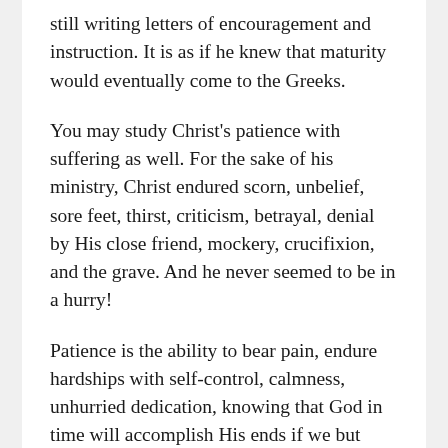still writing letters of encouragement and instruction. It is as if he knew that maturity would eventually come to the Greeks.
You may study Christ's patience with suffering as well. For the sake of his ministry, Christ endured scorn, unbelief, sore feet, thirst, criticism, betrayal, denial by His close friend, mockery, crucifixion, and the grave. And he never seemed to be in a hurry!
Patience is the ability to bear pain, endure hardships with self-control, calmness, unhurried dedication, knowing that God in time will accomplish His ends if we but wait. The psalmist called out,